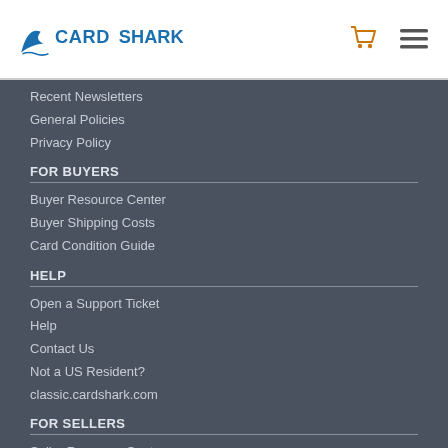[Figure (logo): CardShark logo with shark fin icon and text 'CARDSHARK' in blue]
Recent Newsletters
General Policies
Privacy Policy
FOR BUYERS
Buyer Resource Center
Buyer Shipping Costs
Card Condition Guide
HELP
Open a Support Ticket
Help
Contact Us
Not a US Resident?
classic.cardshark.com
FOR SELLERS
Seller Resource Center
Shipping Allowances
Shipping Guidelines
Condition Guide
Premium Seller Levels